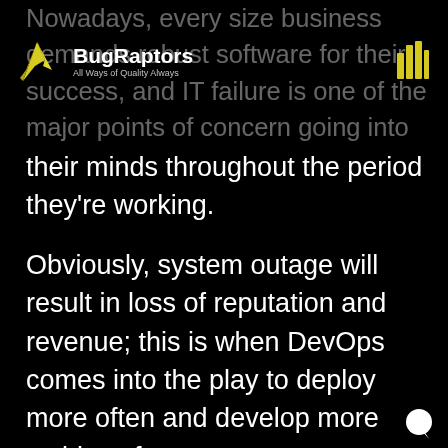BugRaptors — All Ways of Quality Always
Nowadays, every size business demands robust software for their success, and IT failure is one of the major points of concern going into their minds throughout the period they're working.
Obviously, system outage will result in loss of reputation and revenue; this is when DevOps comes into the play to deploy more often and develop more stable software.
How To Integrate DevOps In The Work Environment?
DevOps demands a sturdy organizational plus